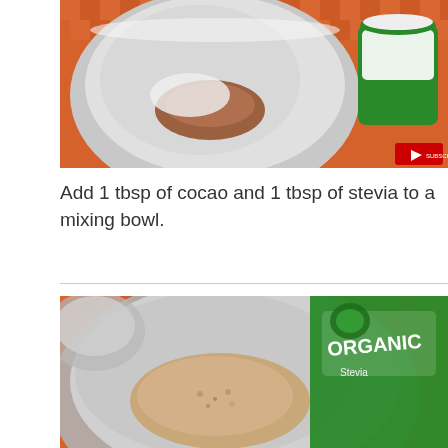[Figure (photo): A metal mixing bowl on an orange woven mat/tablecloth with brown powder (cocoa) inside, and a small green and white container (stevia) to the right. A YouTube subscribe button is visible in the bottom right corner of the image.]
Add 1 tbsp of cocao and 1 tbsp of stevia to a mixing bowl.
[Figure (photo): A metal mixing bowl on an orange woven mat with liquid and granules inside (cocoa and stevia mixture), and a green Organic stevia container visible on the right side.]